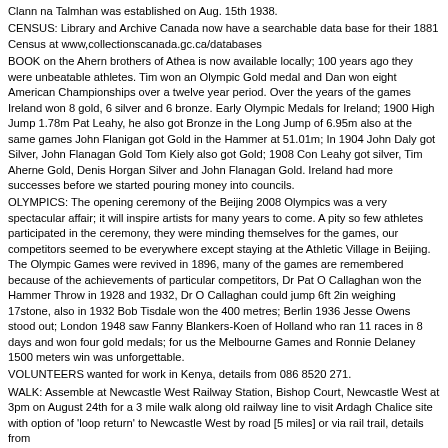Clann na Talmhan was established on Aug. 15th 1938.
CENSUS: Library and Archive Canada now have a searchable data base for their 1881 Census at www,collectionscanada.gc.ca/databases
BOOK on the Ahern brothers of Athea is now available locally; 100 years ago they were unbeatable athletes. Tim won an Olympic Gold medal and Dan won eight American Championships over a twelve year period. Over the years of the games Ireland won 8 gold, 6 silver and 6 bronze. Early Olympic Medals for Ireland; 1900 High Jump 1.78m Pat Leahy, he also got Bronze in the Long Jump of 6.95m also at the same games John Flanigan got Gold in the Hammer at 51.01m; In 1904 John Daly got Silver, John Flanagan Gold Tom Kiely also got Gold; 1908 Con Leahy got silver, Tim Aherne Gold, Denis Horgan Silver and John Flanagan Gold. Ireland had more successes before we started pouring money into councils.
OLYMPICS: The opening ceremony of the Beijing 2008 Olympics was a very spectacular affair; it will inspire artists for many years to come. A pity so few athletes participated in the ceremony, they were minding themselves for the games, our competitors seemed to be everywhere except staying at the Athletic Village in Beijing. The Olympic Games were revived in 1896, many of the games are remembered because of the achievements of particular competitors, Dr Pat O Callaghan won the Hammer Throw in 1928 and 1932, Dr O Callaghan could jump 6ft 2in weighing 17stone, also in 1932 Bob Tisdale won the 400 metres; Berlin 1936 Jesse Owens stood out; London 1948 saw Fanny Blankers-Koen of Holland who ran 11 races in 8 days and won four gold medals; for us the Melbourne Games and Ronnie Delaney 1500 meters win was unforgettable.
VOLUNTEERS wanted for work in Kenya, details from 086 8520 271.
WALK: Assemble at Newcastle West Railway Station, Bishop Court, Newcastle West at 3pm on August 24th for a 3 mile walk along old railway line to visit Ardagh Chalice site with option of 'loop return' to Newcastle West by road [5 miles] or via rail trail, details from